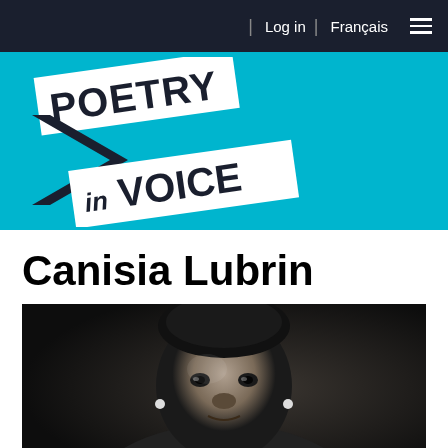Log in | Français ≡
[Figure (logo): Poetry in Voice logo - bold black text on white angled banner with cyan/turquoise blue background. 'POETRY' on top line with a large chevron/arrow symbol, 'in VOICE' on lower line.]
Canisia Lubrin
[Figure (photo): Black and white portrait photograph of Canisia Lubrin, a Black woman with short natural hair, wearing small pearl earrings, looking directly at the camera with a neutral expression against a dark background.]